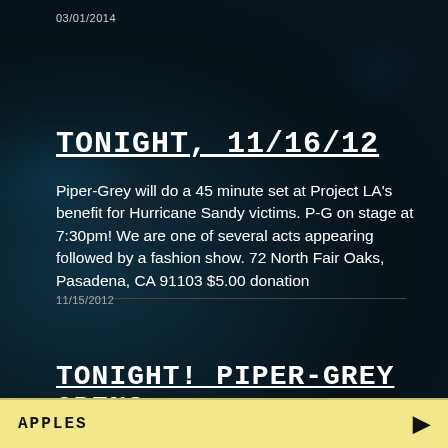03/01/2014
TONIGHT, 11/16/12
Piper-Grey will do a 45 minute set at Project LA's benefit for Hurricane Sandy victims. P-G on stage at 7:30pm! We are one of several acts appearing followed by a fashion show. 72 North Fair Oaks, Pasadena, CA 91103 $5.00 donation
11/15/2012
TONIGHT! PIPER-GREY OPENS FOR FIRES
APPLES ▶